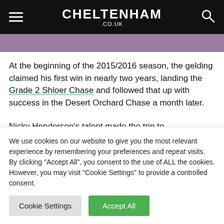CHELTENHAM .CO.UK
[Figure (photo): Partial image strip visible at top of page content area]
At the beginning of the 2015/2016 season, the gelding claimed his first win in nearly two years, landing the Grade 2 Shloer Chase and followed that up with success in the Desert Orchard Chase a month later.
Nicky Henderson's talent made the trip to Gloucestershire as the second favourite of the 2016
We use cookies on our website to give you the most relevant experience by remembering your preferences and repeat visits. By clicking "Accept All", you consent to the use of ALL the cookies. However, you may visit "Cookie Settings" to provide a controlled consent.